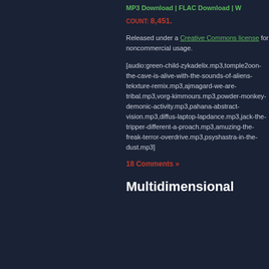MP3 Download | FLAC Download | W
COUNT: 8,451.
Released under a Creative Commons license for noncommercial usage.
[audio:green-child-zykadelix.mp3,tomple2oon-the-cave-is-alive-with-the-sounds-of-aliens-tekxture-remix.mp3,ajmagard-we-are-tribal.mp3,vorg-kimmours.mp3,powder-monkey-demonic-activity.mp3,pahana-abstract-vision.mp3,diffus-laptop-lapdance.mp3,jack-the-tripper-different-a-proach.mp3,amuzing-the-freak-terror-overdrive.mp3,psyshastra-in-the-dust.mp3]
18 Comments »
Multidimensional